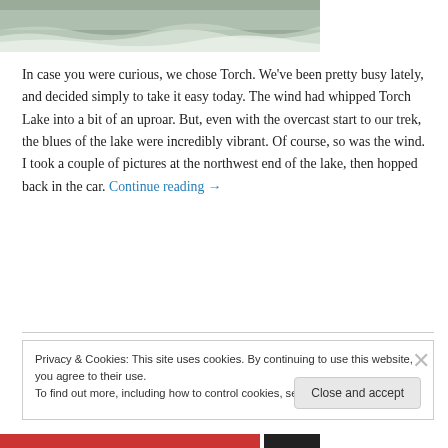[Figure (photo): Partial view of a lake with waves, overcast sky, grey-green water surface visible at top of page]
In case you were curious, we chose Torch. We've been pretty busy lately, and decided simply to take it easy today. The wind had whipped Torch Lake into a bit of an uproar. But, even with the overcast start to our trek, the blues of the lake were incredibly vibrant. Of course, so was the wind.  I took a couple of pictures at the northwest end of the lake, then hopped back in the car. Continue reading →
Privacy & Cookies: This site uses cookies. By continuing to use this website, you agree to their use.
To find out more, including how to control cookies, see here: Cookie Policy